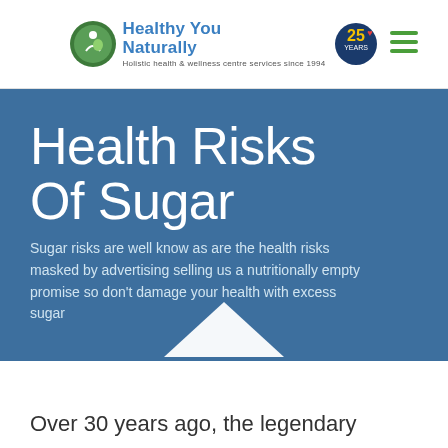[Figure (logo): Healthy You Naturally logo with circular icon, '25 Years' anniversary badge, and hamburger menu icon. Tagline: 'Holistic health & wellness centre services since 1994']
Health Risks Of Sugar
Sugar risks are well know as are the health risks masked by advertising selling us a nutritionally empty promise so don't damage your health with excess sugar
Over 30 years ago, the legendary